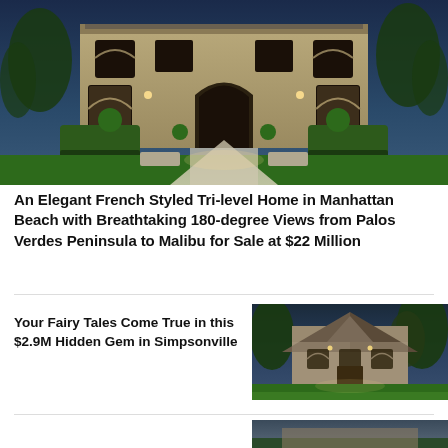[Figure (photo): Exterior night shot of a large elegant French-style mansion with arched windows, illuminated facade, manicured hedges, and a stone driveway]
An Elegant French Styled Tri-level Home in Manhattan Beach with Breathtaking 180-degree Views from Palos Verdes Peninsula to Malibu for Sale at $22 Million
[Figure (photo): Exterior dusk shot of a large stone fairy-tale style home with lush green lawn and trees]
Your Fairy Tales Come True in this $2.9M Hidden Gem in Simpsonville
[Figure (photo): Partial view of another luxury home exterior at dusk]